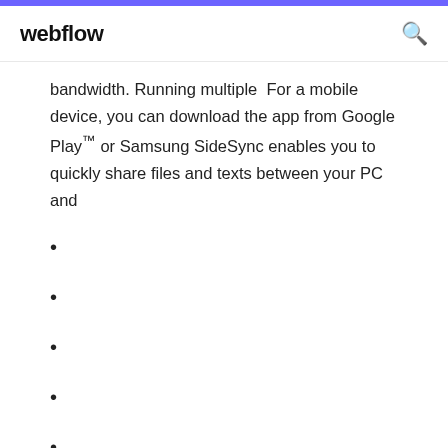webflow
bandwidth. Running multiple  For a mobile device, you can download the app from Google Play™ or Samsung SideSync enables you to quickly share files and texts between your PC and